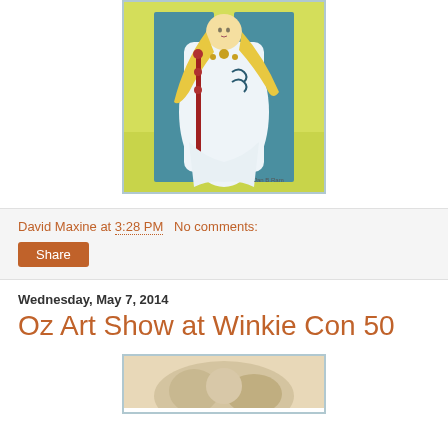[Figure (illustration): Illustration of a woman in a flowing white and blue gown holding a red staff, with long blonde hair, gold ornaments, set against a yellow-green background. Blue border around the image.]
David Maxine at 3:28 PM   No comments:
Share
Wednesday, May 7, 2014
Oz Art Show at Winkie Con 50
[Figure (illustration): Partial view of another illustration, partially cropped at bottom of page.]